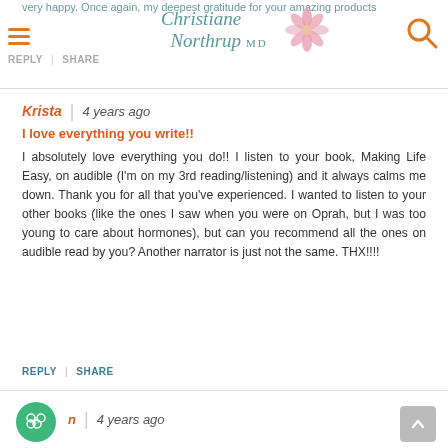very happy. Once again, my deepest gratitude for your amazing products
[Figure (logo): Christiane Northrup MD logo with decorative flower/lotus icon in pink and teal script lettering]
Krista | 4 years ago
I love everything you write!!
I absolutely love everything you do!! I listen to your book, Making Life Easy, on audible (I'm on my 3rd reading/listening) and it always calms me down. Thank you for all that you've experienced. I wanted to listen to your other books (like the ones I saw when you were on Oprah, but I was too young to care about hormones), but can you recommend all the ones on audible read by you? Another narrator is just not the same. THX!!!!
REPLY | SHARE
4 years ago